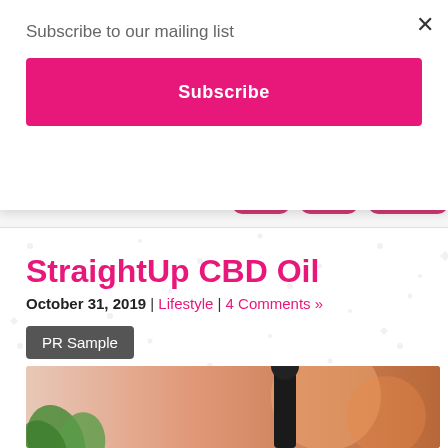Subscribe to our mailing list
Subscribe
×
[Figure (screenshot): Social media icons (Pinterest, and others) in pink/magenta rounded square style, partially visible on right side]
StraightUp CBD Oil
October 31, 2019 | Lifestyle | 4 Comments »
PR Sample
[Figure (photo): Photo of a CBD oil dropper bottle with black rubber dropper top, green plant leaves visible, warm orange/peach blurred background]